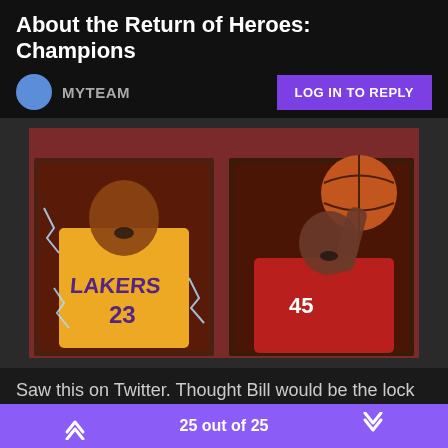About the Return of Heroes: Champions
MYTEAM
LOG IN TO REPLY
[Figure (photo): Two illustrated basketball player card artworks side by side on a dark red background. Left card shows a Lakers player (#23) in a yellow uniform with lightning effects. Right card shows a player in a red uniform dunking a basketball.]
Saw this on Twitter. Thought Bill would be the lock in but guess not.
25 out of 25